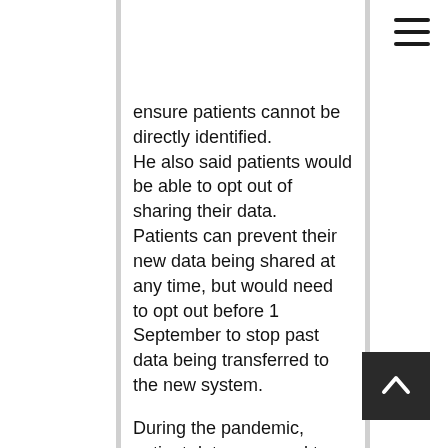ensure patients cannot be directly identified. He also said patients would be able to opt out of sharing their data. Patients can prevent their new data being shared at any time, but would need to opt out before 1 September to stop past data being transferred to the new system. During the pandemic, patient data was used to assess how effective certain treatments were and to identify which groups were most at risk from Covid. GP data has also been used to identify disparities in care for individuals with learning disabilities and to improve services for diabetics. Earlier this week, the British Medical Association and Royal College of General Practitioners expressed their concerns "about the lack of communication with the public". In a joint letter, they urged NHS Digital to "take